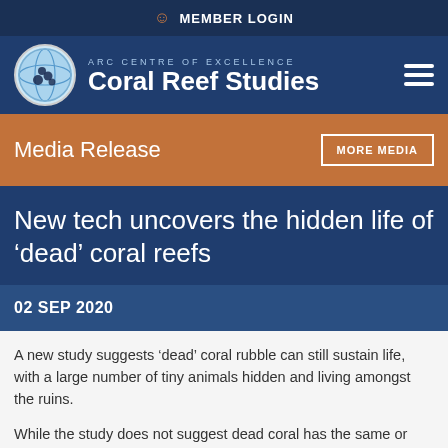MEMBER LOGIN
[Figure (logo): ARC Centre of Excellence Coral Reef Studies logo with globe icon]
Media Release
New tech uncovers the hidden life of ‘dead’ coral reefs
02 SEP 2020
A new study suggests ‘dead’ coral rubble can still sustain life, with a large number of tiny animals hidden and living amongst the ruins.
While the study does not suggest dead coral has the same or higher functioning as living members of the ecosystem foundloballyit...